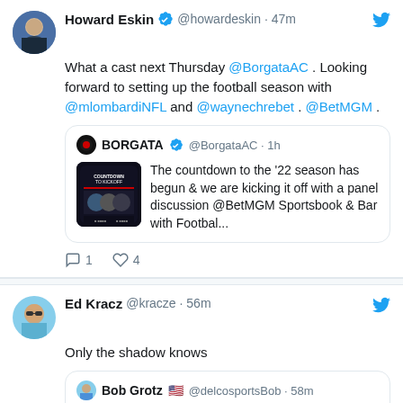[Figure (screenshot): Tweet from Howard Eskin @howardeskin 47m ago with verified badge and Twitter bird icon. Tweet text: 'What a cast next Thursday @BorgataAC . Looking forward to setting up the football season with @mlombardiNFL and @waynechrebet . @BetMGM .' with a quoted tweet from BORGATA @BorgataAC 1h about countdown to the '22 season. Actions show 1 comment and 4 likes.]
[Figure (screenshot): Tweet from Ed Kracz @kracze 56m ago. Tweet text: 'Only the shadow knows'. Has a quoted tweet from Bob Grotz @delcosportsBob 58m with text starting 'Almost ready for']